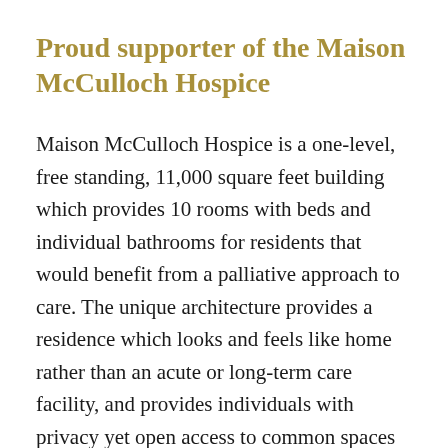Proud supporter of the Maison McCulloch Hospice
Maison McCulloch Hospice is a one-level, free standing, 11,000 square feet building which provides 10 rooms with beds and individual bathrooms for residents that would benefit from a palliative approach to care. The unique architecture provides a residence which looks and feels like home rather than an acute or long-term care facility, and provides individuals with privacy yet open access to common spaces to interact with other residents and service providers.